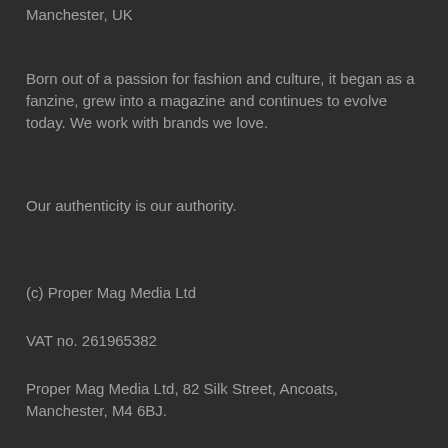Proper is a content and marketing agency based in Manchester, UK
Born out of a passion for fashion and culture, it began as a fanzine, grew into a magazine and continues to evolve today. We work with brands we love.
Our authenticity is our authority.
(c) Proper Mag Media Ltd
VAT no. 261965382
Proper Mag Media Ltd, 82 Silk Street, Ancoats, Manchester, M4 6BJ.